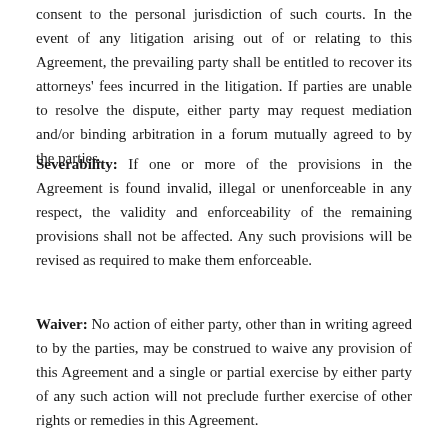consent to the personal jurisdiction of such courts. In the event of any litigation arising out of or relating to this Agreement, the prevailing party shall be entitled to recover its attorneys' fees incurred in the litigation. If parties are unable to resolve the dispute, either party may request mediation and/or binding arbitration in a forum mutually agreed to by the parties.
Severability: If one or more of the provisions in the Agreement is found invalid, illegal or unenforceable in any respect, the validity and enforceability of the remaining provisions shall not be affected. Any such provisions will be revised as required to make them enforceable.
Waiver: No action of either party, other than in writing agreed to by the parties, may be construed to waive any provision of this Agreement and a single or partial exercise by either party of any such action will not preclude further exercise of other rights or remedies in this Agreement.